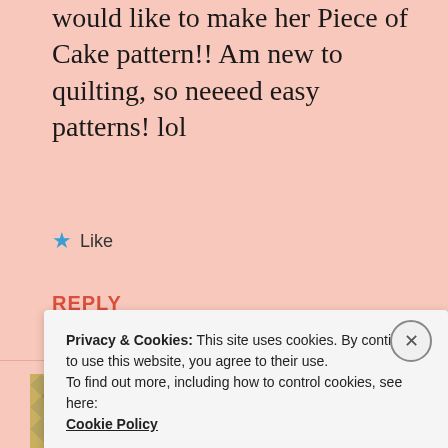would like to make her Piece of Cake pattern!! Am new to quilting, so neeeed easy patterns! lol
★ Like
REPLY
[Figure (illustration): Quilting pattern avatar in olive green and cream diamond/square geometric design]
Jocelyn
Privacy & Cookies: This site uses cookies. By continuing to use this website, you agree to their use. To find out more, including how to control cookies, see here: Cookie Policy
Close and accept